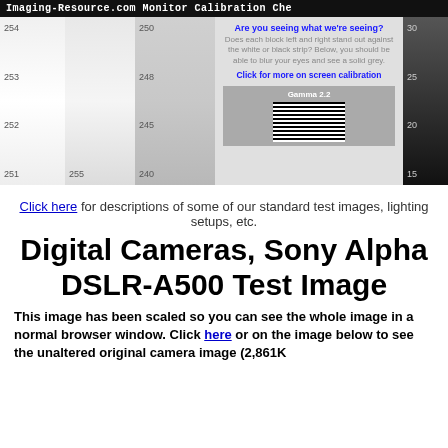Imaging-Resource.com Monitor Calibration Che
[Figure (infographic): Monitor calibration chart with gradient strips (white to black), numbered levels (254, 253, 252, 251, 255, 250, 248, 245, 240, 30, 25, 20, 15), calibration text asking 'Are you seeing what we're seeing?', gamma 2.2 striped box.]
Click here for descriptions of some of our standard test images, lighting setups, etc.
Digital Cameras, Sony Alpha DSLR-A500 Test Image
This image has been scaled so you can see the whole image in a normal browser window. Click here or on the image below to see the unaltered original camera image (2,861K